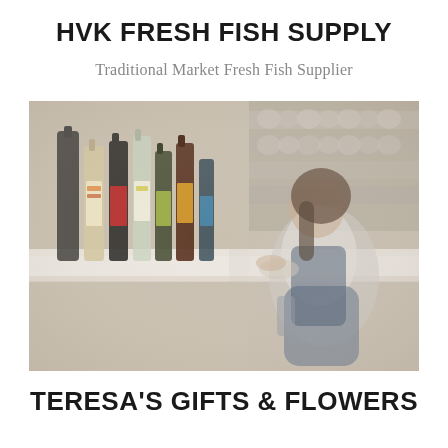HVK FRESH FISH SUPPLY
Traditional Market Fresh Fish Supplier
[Figure (photo): A woman browsing shelves stocked with bottles and jars in a market or grocery store, with blurred foreground bottles in focus]
TERESA'S GIFTS & FLOWERS